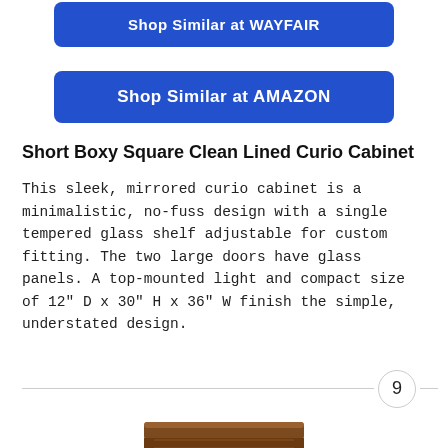[Figure (other): Blue rounded rectangle button reading 'Shop Similar at WAYFAIR']
[Figure (other): Blue rounded rectangle button reading 'Shop Similar at AMAZON']
Short Boxy Square Clean Lined Curio Cabinet
This sleek, mirrored curio cabinet is a minimalistic, no-fuss design with a single tempered glass shelf adjustable for custom fitting. The two large doors have glass panels. A top-mounted light and compact size of 12" D x 30" H x 36" W finish the simple, understated design.
9
[Figure (photo): Partial photo of a dark wood curio cabinet top with ornate carved detailing]